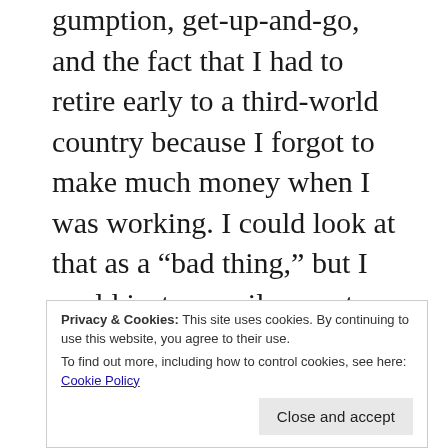gumption, get-up-and-go, and the fact that I had to retire early to a third-world country because I forgot to make much money when I was working. I could look at that as a “bad thing,” but I could just as easily count myself fortunate that I ended up here in Thailand. If I had been any more of a “success” this might not have been a logical choice. I could have ended up in a big house in the suburbs of a Midwestern city, polishing one of my many vintage cars and watching my wife vacuum our vast expanse of indoor carpeting.
My life here might not be perfect, but it doesn’t
Privacy & Cookies: This site uses cookies. By continuing to use this website, you agree to their use.
To find out more, including how to control cookies, see here: Cookie Policy
Close and accept
multiple machines, cars, tractors, motorcycles,